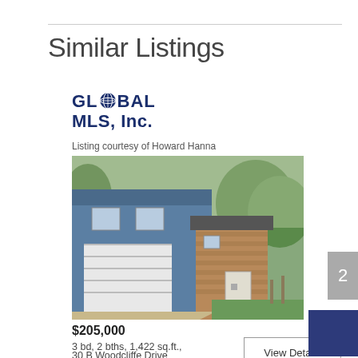Similar Listings
[Figure (logo): Global MLS, Inc. logo with globe icon]
Listing courtesy of Howard Hanna
[Figure (photo): Exterior photo of a blue two-story house with attached garage and brick outbuilding]
$205,000
3 bd, 2 bths, 1,422 sq.ft., 0.230 acres
30 B Woodcliffe Drive